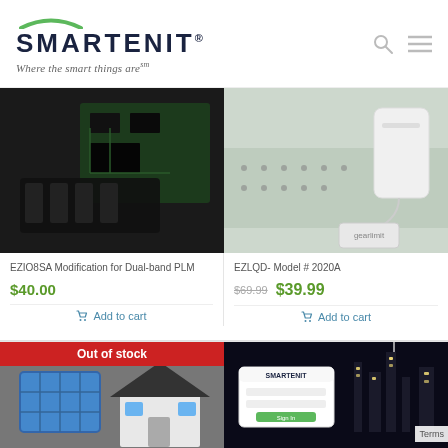[Figure (logo): Smartenit logo with green arc, dark blue bold text, and tagline 'Where the smart things are']
[Figure (photo): Circuit board product image for EZIO8SA Modification for Dual-band PLM]
EZIO8SA Modification for Dual-band PLM
$40.00
Add to cart
[Figure (photo): Sensor product image for EZLQD Model #2020A]
EZLQD- Model # 2020A
$69.99 $39.99
Add to cart
[Figure (photo): House/solar panel product image marked Out of stock]
Out of stock
[Figure (screenshot): Smartenit website screenshot on city night background]